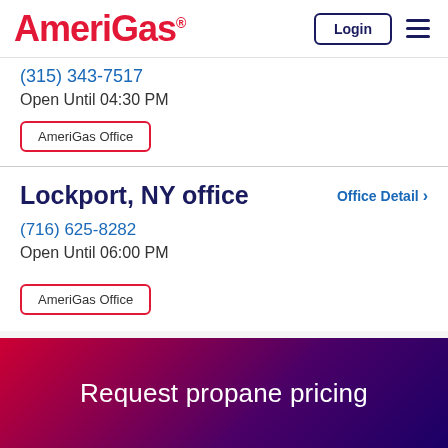AmeriGas Login menu
(315) 343-7517
Open Until 04:30 PM
AmeriGas Office
Lockport, NY office
Office Detail
(716) 625-8282
Open Until 06:00 PM
AmeriGas Office
Request propane pricing